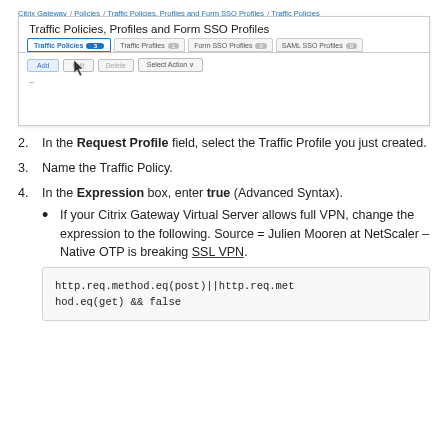Citrix Gateway / Policies / Traffic Policies, Profiles and Form SSO Profiles / Traffic Policies
[Figure (screenshot): Citrix Gateway UI screenshot showing Traffic Policies, Profiles and Form SSO Profiles page with tabs: Traffic Policies (3), Traffic Profiles (1), Form SSO Profiles (0), SAML SSO Profiles (0), and toolbar buttons: Add, Edit, Delete, Select Action]
In the Request Profile field, select the Traffic Profile you just created.
Name the Traffic Policy.
In the Expression box, enter true (Advanced Syntax).
If your Citrix Gateway Virtual Server allows full VPN, change the expression to the following. Source = Julien Mooren at NetScaler – Native OTP is breaking SSL VPN.
http.req.method.eq(post)||http.req.method.eq(get) && false